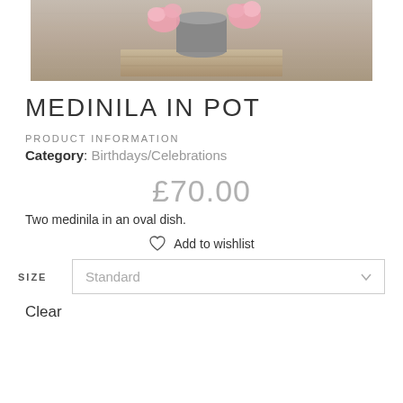[Figure (photo): Product photo showing medinila flowers with pink blooms on a wooden surface with grey fabric, cropped at top of page]
MEDINILA IN POT
PRODUCT INFORMATION
Category: Birthdays/Celebrations
£70.00
Two medinila in an oval dish.
♡  Add to wishlist
SIZE   Standard
Clear